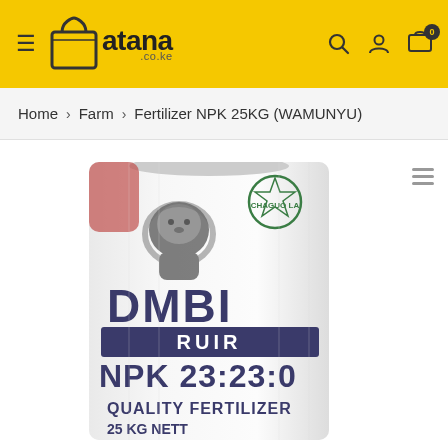[Figure (logo): Atana.co.ke logo with shopping bag icon on yellow header background]
Home > Farm > Fertilizer NPK 25KG (WAMUNYU)
[Figure (photo): White 25kg bag of DMBI RUIR NPK 23:23:0 Quality Fertilizer with lion logo and CHAGUO LA... badge]